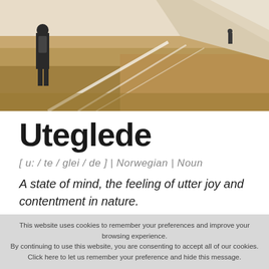[Figure (photo): Outdoor scene with a person hiking on a rocky path, wide landscape visible, sepia/warm tones, diagonal white line markings on the terrain, another small figure visible in the distance]
Uteglede
[ u: / te / glei / de ] | Norwegian | Noun
A state of mind, the feeling of utter joy and contentment in nature.
This website uses cookies to remember your preferences and improve your browsing experience.
By continuing to use this website, you are consenting to accept all of our cookies.
Click here to let us remember your preference and hide this message.